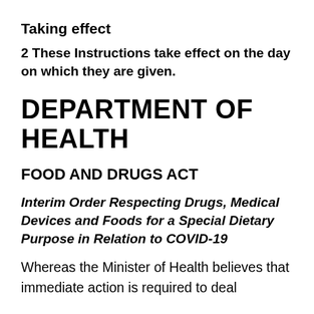Taking effect
2 These Instructions take effect on the day on which they are given.
DEPARTMENT OF HEALTH
FOOD AND DRUGS ACT
Interim Order Respecting Drugs, Medical Devices and Foods for a Special Dietary Purpose in Relation to COVID-19
Whereas the Minister of Health believes that immediate action is required to deal